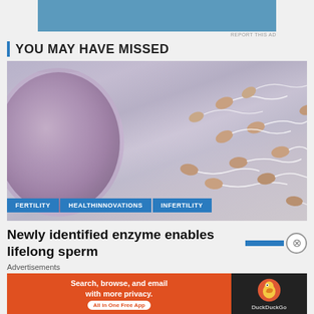[Figure (other): Blue advertisement banner placeholder at top of page]
YOU MAY HAVE MISSED
[Figure (photo): Scientific illustration of sperm cells swimming toward a large egg cell (ovum) against a light blue-purple background. Tags at bottom: FERTILITY, HEALTHINNOVATIONS, INFERTILITY]
Newly identified enzyme enables lifelong sperm
Advertisements
[Figure (other): DuckDuckGo advertisement: 'Search, browse, and email with more privacy. All in One Free App' on orange background with DuckDuckGo duck logo on dark background]